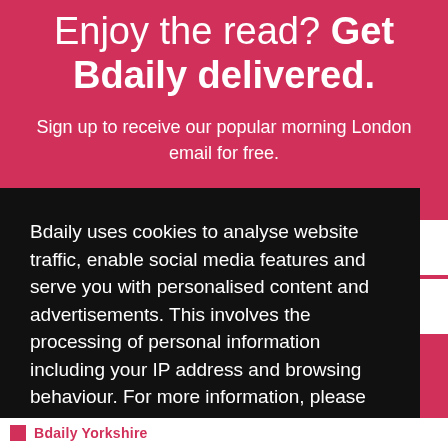Enjoy the read? Get Bdaily delivered.
Sign up to receive our popular morning London email for free.
Bdaily uses cookies to analyse website traffic, enable social media features and serve you with personalised content and advertisements. This involves the processing of personal information including your IP address and browsing behaviour. For more information, please see our Cookies Policy
I ACCEPT
Bdaily Yorkshire